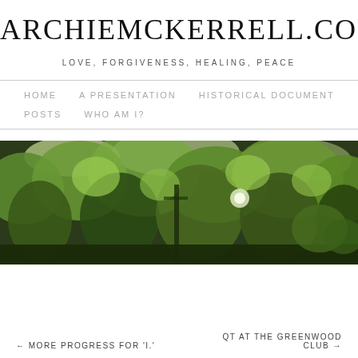ARCHIEMCKERRELL.COM
LOVE, FORGIVENESS, HEALING, PEACE
HOME   A PRESENTATION   HISTORICAL DOCUMENT   POSTS   WHO AM I?
[Figure (photo): Dense green forest canopy with trees and foliage, dark and light contrast, outdoor nature scene]
← MORE PROGRESS FOR 'I.'     QT AT THE GREENWOOD CLUB →